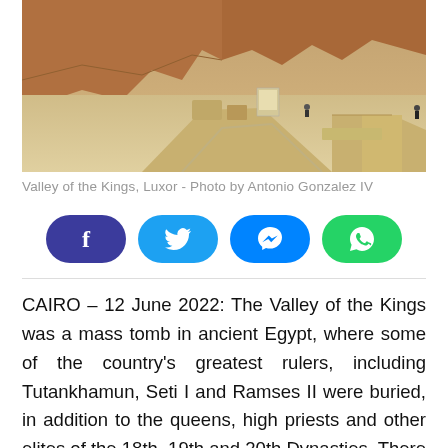[Figure (photo): Valley of the Kings archaeological site in Luxor, Egypt. Shows rocky cliffs, sandy pathways, stone structures and tomb entrances with a few visitors visible.]
Valley of the Kings, Luxor - Photo by Antonio Gonzalez IV
[Figure (infographic): Social media share buttons: Facebook (dark blue), Twitter (light blue), Messenger (blue), WhatsApp (green)]
CAIRO – 12 June 2022: The Valley of the Kings was a mass tomb in ancient Egypt, where some of the country's greatest rulers, including Tutankhamun, Seti I and Ramses II were buried, in addition to the queens, high priests and other elites of the 18th, 19th and 20th Dynasties. There are